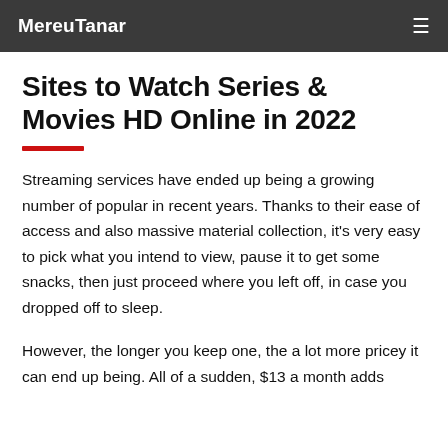MereuTanar
Sites to Watch Series & Movies HD Online in 2022
Streaming services have ended up being a growing number of popular in recent years. Thanks to their ease of access and also massive material collection, it's very easy to pick what you intend to view, pause it to get some snacks, then just proceed where you left off, in case you dropped off to sleep.
However, the longer you keep one, the a lot more pricey it can end up being. All of a sudden, $13 a month adds